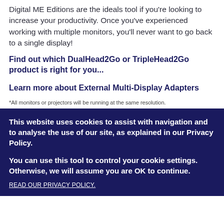Digital ME Editions are the ideals tool if you're looking to increase your productivity. Once you've experienced working with multiple monitors, you'll never want to go back to a single display!
Find out which DualHead2Go or TripleHead2Go product is right for you...
Learn more about External Multi-Display Adapters
*All monitors or projectors will be running at the same resolution.
This website uses cookies to assist with navigation and to analyse the use of our site, as explained in our Privacy Policy.
You can use this tool to control your cookie settings. Otherwise, we will assume you are OK to continue.
READ OUR PRIVACY POLICY.